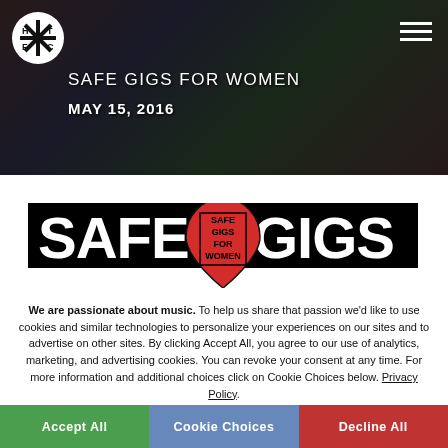SAFE GIGS FOR WOMEN — MAY 15, 2016
[Figure (logo): Safe Gigs for Women logo — black banner with large white SAFE and GIGS text, red guitar pick in center with SAFE GIGS FOR WOMEN text inside]
We are passionate about music. To help us share that passion we'd like to use cookies and similar technologies to personalize your experiences on our sites and to advertise on other sites. By clicking Accept All, you agree to our use of analytics, marketing, and advertising cookies. You can revoke your consent at any time. For more information and additional choices click on Cookie Choices below. Privacy Policy.
Accept All | Cookie Choices | Decline All